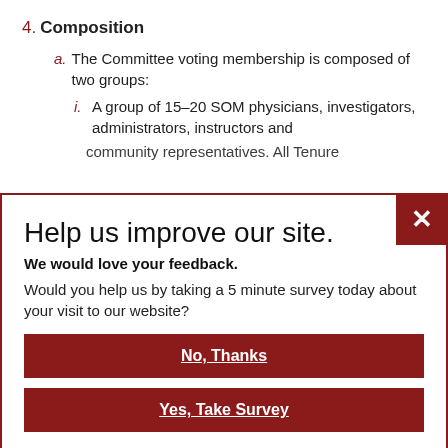4. Composition
a. The Committee voting membership is composed of two groups:
i. A group of 15-20 SOM physicians, investigators, administrators, instructors and community representatives. All Tenure...
Help us improve our site.
We would love your feedback.
Would you help us by taking a 5 minute survey today about your visit to our website?
No, Thanks
Yes, Take Survey